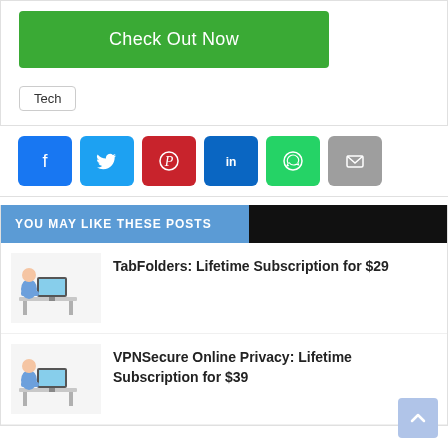[Figure (screenshot): Green 'Check Out Now' button]
Tech
[Figure (infographic): Social share buttons: Facebook, Twitter, Pinterest, LinkedIn, WhatsApp, Email]
YOU MAY LIKE THESE POSTS
[Figure (illustration): Person sitting at desk with computer]
TabFolders: Lifetime Subscription for $29
[Figure (illustration): Person sitting at desk with computer]
VPNSecure Online Privacy: Lifetime Subscription for $39